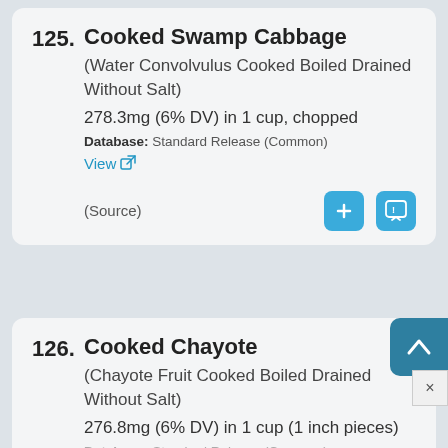125. Cooked Swamp Cabbage (Water Convolvulus Cooked Boiled Drained Without Salt) 278.3mg (6% DV) in 1 cup, chopped Database: Standard Release (Common) View
126. Cooked Chayote (Chayote Fruit Cooked Boiled Drained Without Salt) 276.8mg (6% DV) in 1 cup (1 inch pieces) Database: Standard Release (Common)